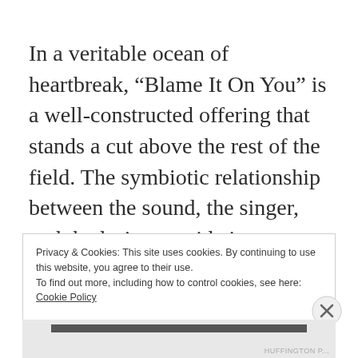In a veritable ocean of heartbreak, “Blame It On You” is a well-constructed offering that stands a cut above the rest of the field. The symbiotic relationship between the sound, the singer, and the lyrics provide just enough of a unique angle on a common theme to catch the
Privacy & Cookies: This site uses cookies. By continuing to use this website, you agree to their use.
To find out more, including how to control cookies, see here:
Cookie Policy
Close and accept